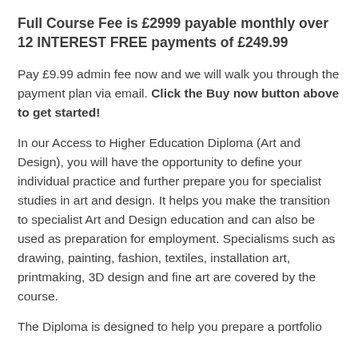Full Course Fee is £2999 payable monthly over 12 INTEREST FREE payments of £249.99
Pay £9.99 admin fee now and we will walk you through the payment plan via email. Click the Buy now button above to get started!
In our Access to Higher Education Diploma (Art and Design), you will have the opportunity to define your individual practice and further prepare you for specialist studies in art and design. It helps you make the transition to specialist Art and Design education and can also be used as preparation for employment. Specialisms such as drawing, painting, fashion, textiles, installation art, printmaking, 3D design and fine art are covered by the course.
The Diploma is designed to help you prepare a portfolio